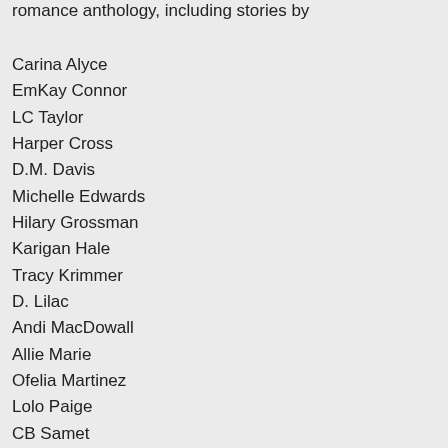romance anthology, including stories by
Carina Alyce
EmKay Connor
LC Taylor
Harper Cross
D.M. Davis
Michelle Edwards
Hilary Grossman
Karigan Hale
Tracy Krimmer
D. Lilac
Andi MacDowall
Allie Marie
Ofelia Martinez
Lolo Paige
CB Samet
Heather Scarlett
Pandora Snow